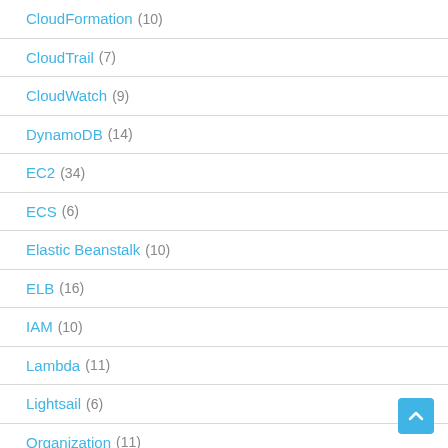CloudFormation (10)
CloudTrail (7)
CloudWatch (9)
DynamoDB (14)
EC2 (34)
ECS (6)
Elastic Beanstalk (10)
ELB (16)
IAM (10)
Lambda (11)
Lightsail (6)
Organization (11)